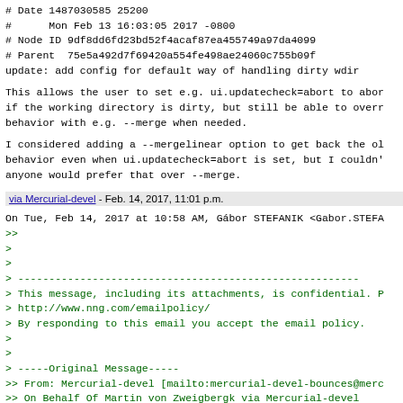# Date 1487030585 25200
#      Mon Feb 13 16:03:05 2017 -0800
# Node ID 9df8dd6fd23bd52f4acaf87ea455749a97da4099
# Parent  75e5a492d7f69420a554fe498ae24060c755b09f
update: add config for default way of handling dirty wdir
This allows the user to set e.g. ui.updatecheck=abort to abor
if the working directory is dirty, but still be able to overr
behavior with e.g. --merge when needed.
I considered adding a --mergelinear option to get back the ol
behavior even when ui.updatecheck=abort is set, but I couldn'
anyone would prefer that over --merge.
via Mercurial-devel - Feb. 14, 2017, 11:01 p.m.
On Tue, Feb 14, 2017 at 10:58 AM, Gábor STEFANIK <Gabor.STEFA
>>
>
>
> -------------------------------------------------------
> This message, including its attachments, is confidential. P
> http://www.nng.com/emailpolicy/
> By responding to this email you accept the email policy.
>
>
> -----Original Message-----
>> From: Mercurial-devel [mailto:mercurial-devel-bounces@merc
>> On Behalf Of Martin von Zweigbergk via Mercurial-devel
>> Sent: Tuesday, February 14, 2017 2:07 AM
>> To: mercurial-devel@mercurial-scm.org
>> Subject: [PATCH 6 of 6] update: add config for default way
>> wdir